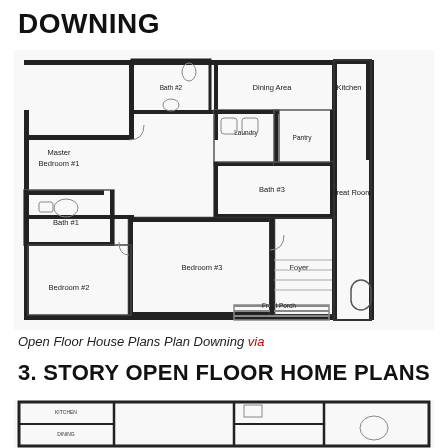DOWNING
[Figure (engineering-diagram): Floor plan of Open Floor House Plans Plan Downing showing Master Bedroom #1, Bedroom #2, Bedroom #3, Bath #1, Bath #2, Bath #3, Laundry, Pantry, Dining Area, Kitchen, Foyer, Front Porch, Great Room]
Open Floor House Plans Plan Downing via
3. STORY OPEN FLOOR HOME PLANS
[Figure (engineering-diagram): Partial view of a second floor plan (story open floor home plans)]